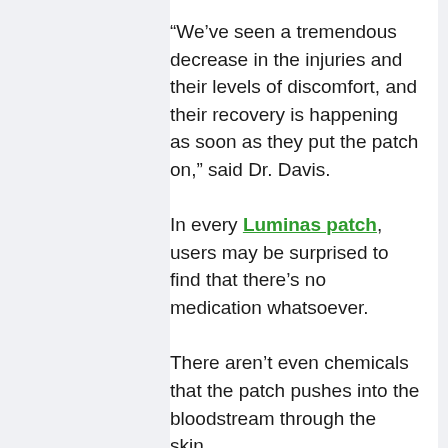“We’ve seen a tremendous decrease in the injuries and their levels of discomfort, and their recovery is happening as soon as they put the patch on,” said Dr. Davis.
In every Luminas patch, users may be surprised to find that there’s no medication whatsoever.
There aren’t even chemicals that the patch pushes into the bloodstream through the skin.